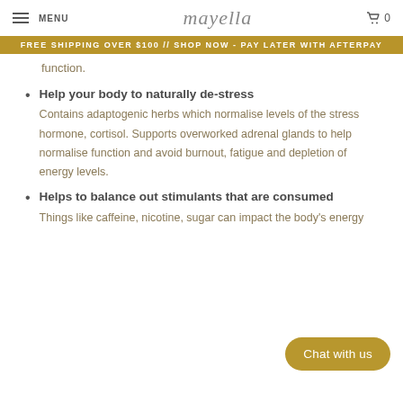MENU  Mayella  0
FREE SHIPPING OVER $100 // SHOP NOW - PAY LATER WITH AFTERPAY
function.
Help your body to naturally de-stress – Contains adaptogenic herbs which normalise levels of the stress hormone, cortisol. Supports overworked adrenal glands to help normalise function and avoid burnout, fatigue and depletion of energy levels.
Helps to balance out stimulants that are consumed – Things like caffeine, nicotine, sugar can impact the body's energy